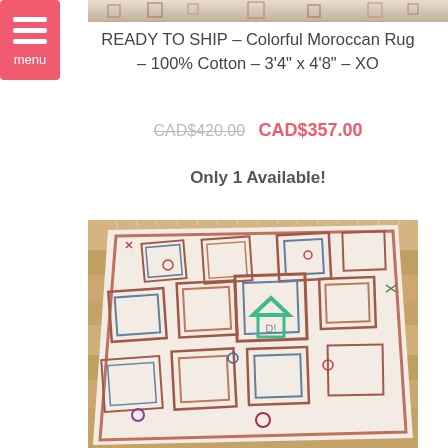[Figure (photo): Partial view of a colorful Moroccan rug at the very top of the page]
READY TO SHIP – Colorful Moroccan Rug – 100% Cotton – 3'4" x 4'8" – XO
CAD$420.00  CAD$357.00
Only 1 Available!
[Figure (photo): Close-up photo of a colorful Moroccan rug with geometric diamond patterns in red, blue, and multicolor on a cream/ivory background, laid on a wooden floor. A teal house/chevron watermark logo is visible in the center.]